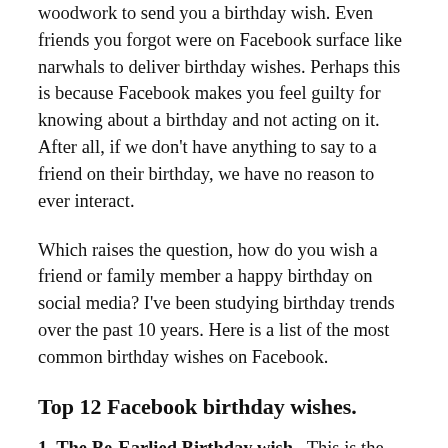woodwork to send you a birthday wish. Even friends you forgot were on Facebook surface like narwhals to deliver birthday wishes. Perhaps this is because Facebook makes you feel guilty for knowing about a birthday and not acting on it. After all, if we don't have anything to say to a friend on their birthday, we have no reason to ever interact.
Which raises the question, how do you wish a friend or family member a happy birthday on social media? I've been studying birthday trends over the past 10 years. Here is a list of the most common birthday wishes on Facebook.
Top 12 Facebook birthday wishes.
1. The Be-Earlied Birthday wish. This is the first wish you receive. It comes from a friend who is